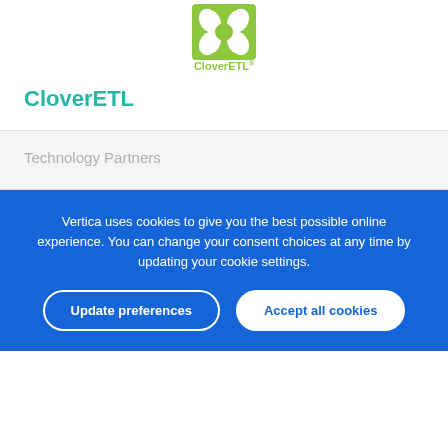[Figure (logo): CloverETL logo — green cloverleaf icon above the text 'CloverETL' in green]
CloverETL
Technology Partners
Vertica uses cookies to give you the best possible online experience. You can change your consent choices at any time by updating your cookie settings.
Update preferences
Accept all cookies